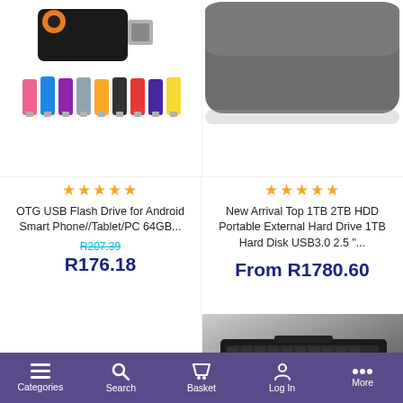[Figure (photo): OTG USB Flash Drive product image showing a black USB drive with orange swivel ring and a row of colorful mini USB drives below it]
★★★★★
OTG USB Flash Drive for Android Smart Phone//Tablet/PC 64GB...
R207.39 (strikethrough)
R176.18
[Figure (photo): Dark grey rounded-rectangle external hard drive product image]
★★★★★
New Arrival Top 1TB 2TB HDD Portable External Hard Drive 1TB Hard Disk USB3.0 2.5 "...
From R1780.60
[Figure (photo): Black Bluetooth keyboard product image on gradient grey background]
Categories   Search   Basket   Log In   More